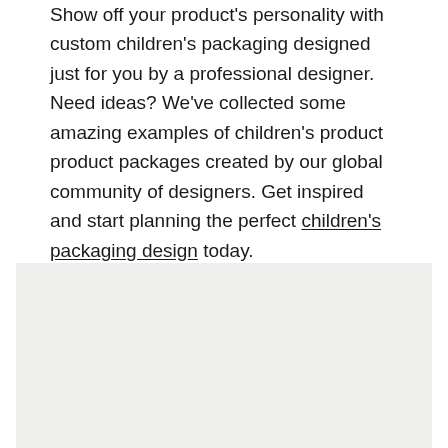Show off your product's personality with custom children's packaging designed just for you by a professional designer. Need ideas? We've collected some amazing examples of children's product product packages created by our global community of designers. Get inspired and start planning the perfect children's packaging design today.
[Figure (photo): A light gray rectangular image placeholder area at the bottom of the page.]